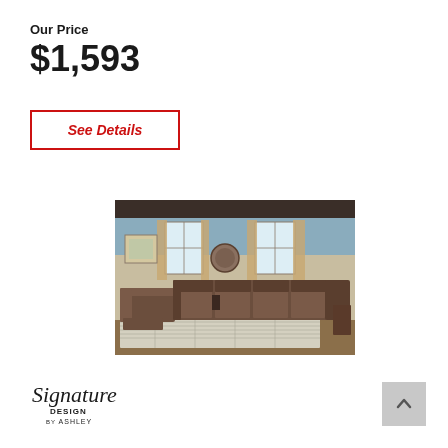Our Price
$1,593
See Details
[Figure (photo): Brown leather sectional reclining sofa with chaise lounge in a living room setting with blue-grey walls and hardwood floors]
[Figure (logo): Signature Design by Ashley logo]